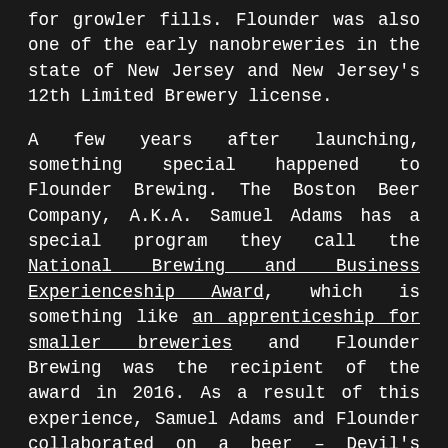for growler fills. Flounder was also one of the early nanobreweries in the state of New Jersey and New Jersey's 12th Limited Brewery license.

A few years after launching, something special happened to Flounder Brewing. The Boston Beer Company, A.K.A. Samuel Adams has a special program they call the National Brewing and Business Experienceship Award, which is something like an apprenticeship for smaller breweries and Flounder Brewing was the recipient of the award in 2016. As a result of this experience, Samuel Adams and Flounder collaborated on a beer – Devil's Nectah, a Helles Lager brewed with Cranberries and Honey. Helles meaning bright in Germany, Helles Lager is intended to be light refreshing beer that is similar to a Pilsner. I had the chance to sample some of it and was wowed by how delicious the beer was. The tart of the cranberry came together perfectly with the sweetness of the honey. The